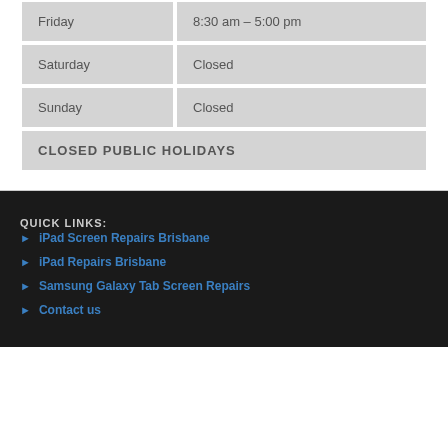| Day | Hours |
| --- | --- |
| Friday | 8:30 am – 5:00 pm |
| Saturday | Closed |
| Sunday | Closed |
| CLOSED PUBLIC HOLIDAYS |  |
QUICK LINKS:
iPad Screen Repairs Brisbane
iPad Repairs Brisbane
Samsung Galaxy Tab Screen Repairs
Contact us